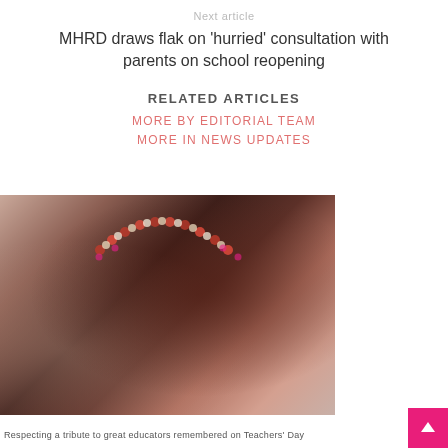Next article
MHRD draws flak on ‘hurried’ consultation with parents on school reopening
RELATED ARTICLES
MORE BY EDITORIAL TEAM
MORE IN NEWS UPDATES
[Figure (photo): A person placing flowers or garland on a framed portrait of an elderly man wearing a traditional white turban, decorated with red and white flower garlands.]